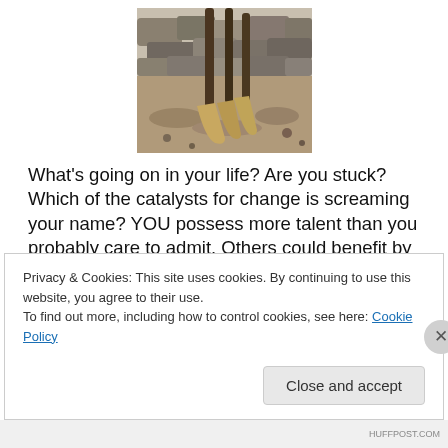[Figure (photo): Photograph of shovels leaning against a stone wall, partially buried in dirt/rubble]
What’s going on in your life?  Are you stuck?  Which of the catalysts for change is screaming your name? YOU  possess more talent than you probably care to admit.  Others could benefit by you exhibiting courage enough to step out & change!   One of my favorite men recently said, “I don’t mind getting stuck in traffic; don’t get stuck in life. –
Privacy & Cookies: This site uses cookies. By continuing to use this website, you agree to their use.
To find out more, including how to control cookies, see here: Cookie Policy